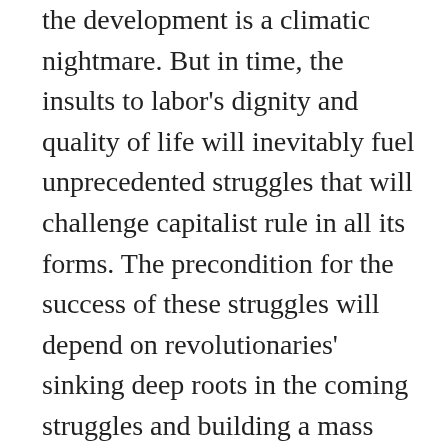the development is a climatic nightmare. But in time, the insults to labor's dignity and quality of life will inevitably fuel unprecedented struggles that will challenge capitalist rule in all its forms. The precondition for the success of these struggles will depend on revolutionaries' sinking deep roots in the coming struggles and building a mass working-class socialist party capable of ending capitalist's inherent horrors once and for all.